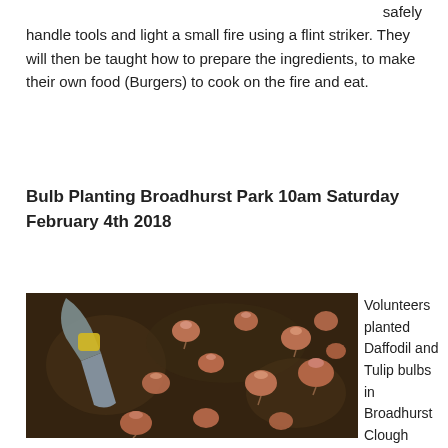safely handle tools and light a small fire using a flint striker. They will then be taught how to prepare the ingredients, to make their own food (Burgers) to cook on the fire and eat.
Bulb Planting Broadhurst Park 10am Saturday February 4th 2018
[Figure (photo): Close-up photo of small bulbs scattered on dark soil with a garden trowel/hand spade in the foreground]
Volunteers planted Daffodil and Tulip bulbs in Broadhurst Clough